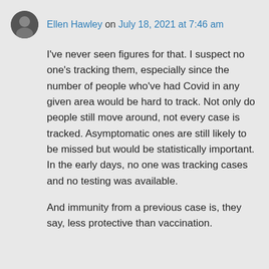Ellen Hawley on July 18, 2021 at 7:46 am
I've never seen figures for that. I suspect no one's tracking them, especially since the number of people who've had Covid in any given area would be hard to track. Not only do people still move around, not every case is tracked. Asymptomatic ones are still likely to be missed but would be statistically important. In the early days, no one was tracking cases and no testing was available.
And immunity from a previous case is, they say, less protective than vaccination.